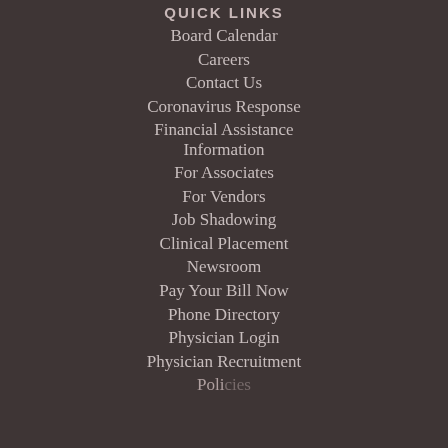QUICK LINKS
Board Calendar
Careers
Contact Us
Coronavirus Response
Financial Assistance Information
For Associates
For Vendors
Job Shadowing
Clinical Placement
Newsroom
Pay Your Bill Now
Phone Directory
Physician Login
Physician Recruitment
Policies